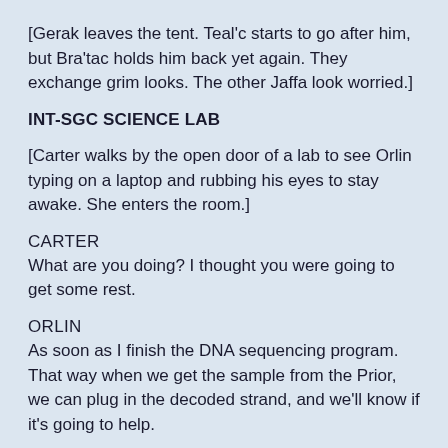[Gerak leaves the tent. Teal'c starts to go after him, but Bra'tac holds him back yet again. They exchange grim looks. The other Jaffa look worried.]
INT-SGC SCIENCE LAB
[Carter walks by the open door of a lab to see Orlin typing on a laptop and rubbing his eyes to stay awake. She enters the room.]
CARTER
What are you doing? I thought you were going to get some rest.
ORLIN
As soon as I finish the DNA sequencing program. That way when we get the sample from the Prior, we can plug in the decoded strand, and we'll know if it's going to help.